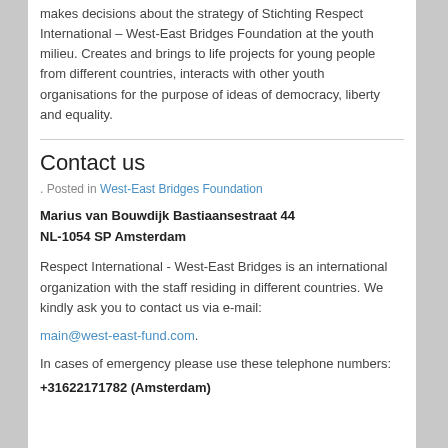makes decisions about the strategy of Stichting Respect International – West-East Bridges Foundation at the youth milieu. Creates and brings to life projects for young people from different countries, interacts with other youth organisations for the purpose of ideas of democracy, liberty and equality.
Contact us
. Posted in West-East Bridges Foundation
Marius van Bouwdijk Bastiaansestraat 44
NL-1054 SP Amsterdam
Respect International - West-East Bridges is an international organization with the staff residing in different countries. We kindly ask you to contact us via e-mail:
main@west-east-fund.com.
In cases of emergency please use these telephone numbers:
+31622171782 (Amsterdam)